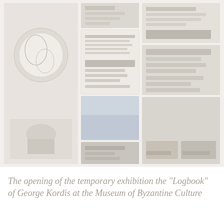[Figure (photo): A composite/collage of multiple photographs showing artwork, manuscripts/logbooks, figurines, and exhibition materials related to artist George Kordis. Left panel shows a large circular emblem or icon and a figurine. Middle column shows several smaller images including book pages and abstract imagery. Right column shows additional exhibition or artwork photographs.]
The opening of the temporary exhibition the "Logbook" of George Kordis at the Museum of Byzantine Culture